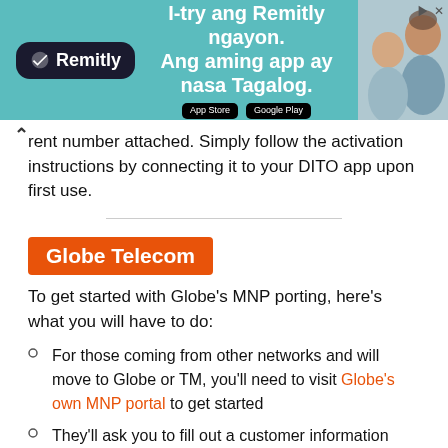[Figure (other): Remitly advertisement banner with teal background. Logo on left, text 'I-try ang Remitly ngayon. Ang aming app ay nasa Tagalog.' in center, App Store and Google Play buttons, photo of people on right.]
...will provide you with a new DITO SIM with your current number attached. Simply follow the activation instructions by connecting it to your DITO app upon first use.
Globe Telecom
To get started with Globe's MNP porting, here's what you will have to do:
For those coming from other networks and will move to Globe or TM, you'll need to visit Globe's own MNP portal to get started
They'll ask you to fill out a customer information sheet.